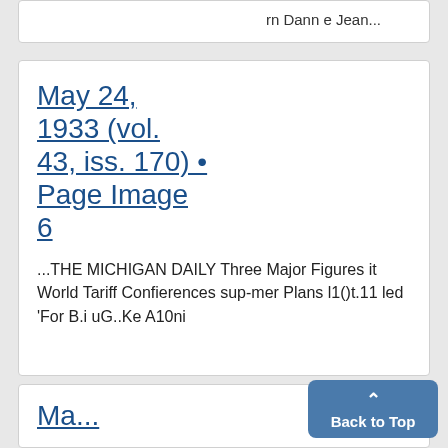rn Dann e Jean...
May 24, 1933 (vol. 43, iss. 170) • Page Image 6
...THE MICHIGAN DAILY Three Major Figures it World Tariff Confierences sup-mer Plans l1()t.11 led 'For B.i uG..Ke A10ni